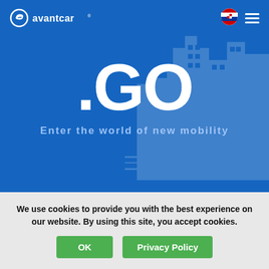[Figure (logo): Avantcar logo with stylized 'e' icon and 'avantcar' wordmark in white on blue background]
[Figure (illustration): Croatian flag circle icon in navigation bar]
[Figure (illustration): Hamburger menu icon (three white horizontal lines)]
[Figure (photo): Background photo of urban street scene with buildings, rendered in blue overlay]
.GO
Enter the world of new mobility
We use cookies to provide you with the best experience on our website. By using this site, you accept cookies.
OK
Privacy Policy